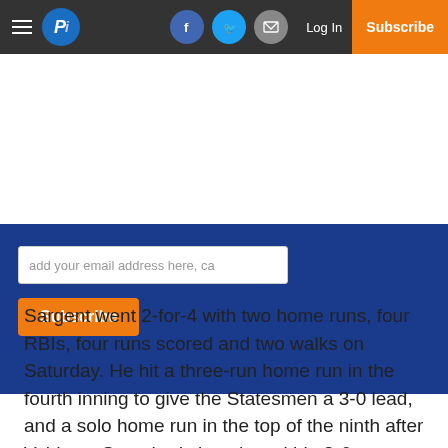Pi — Log In | Subscribe
[Figure (screenshot): Email subscription input field with placeholder text 'add your email address here, ca' and an orange Subscribe button below, on a dark blue background]
Sargent went 2-for-4 with two home runs, four RBIs, four runs scored and two walks on Saturday. He hit a three-run home run in the fourth inning to give the Statesmen a 3-0 lead, and a solo home run in the top of the ninth after Valdosta State had closed to within 8-6.